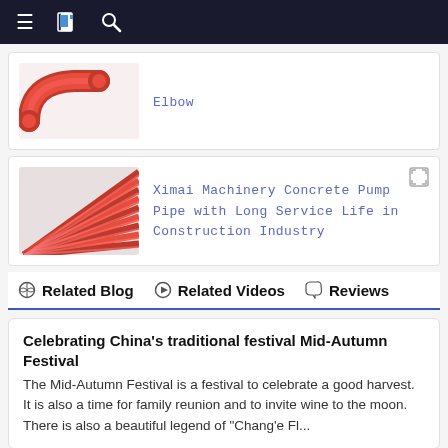Navigation bar with menu, bookmark, and search icons
[Figure (photo): Red rubber elbow pipe fitting product photo]
Elbow
[Figure (photo): Red concrete pump pipes bundled together product photo]
Ximai Machinery Concrete Pump Pipe with Long Service Life in Construction Industry
Related Blog   Related Videos   Reviews
Celebrating China's traditional festival Mid-Autumn Festival
The Mid-Autumn Festival is a festival to celebrate a good harvest. It is also a time for family reunion and to invite wine to the moon. There is also a beautiful legend of "Chang'e Fl...
Survey and trend analysis of the global concrete building ma...
Based on the historical situation in the past five years (2016-2020), analyze the overall scale of global concrete building materials in the past few years, the scale of major regions, the scale an...